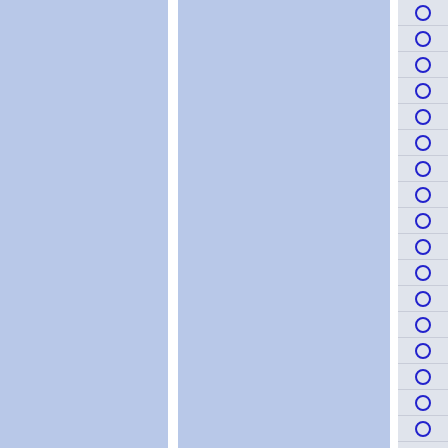[Figure (other): UI layout showing two blue panels separated by a white vertical divider on the left, and a narrow right column with a list of radio button circles on a light grey background with horizontal row dividers.]